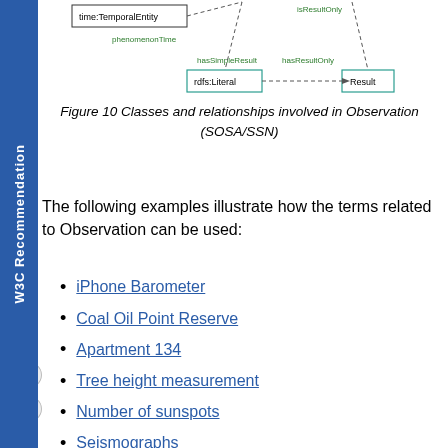[Figure (other): Diagram showing classes and relationships involved in Observation (SOSA/SSN), including time:TemporalEntity, rdfs:Literal, Result, hasSimpleResult, hasResultOnly, phenomenonTime nodes connected by dashed arrows.]
Figure 10 Classes and relationships involved in Observation (SOSA/SSN)
The following examples illustrate how the terms related to Observation can be used:
iPhone Barometer
Coal Oil Point Reserve
Apartment 134
Tree height measurement
Number of sunspots
Seismographs
Wind sensor spinning cups
IP68 Smart Sensor